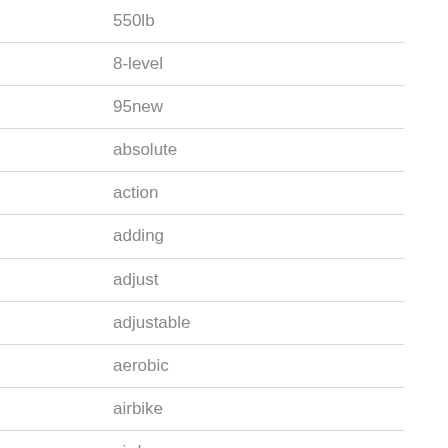550lb
8-level
95new
absolute
action
adding
adjust
adjustable
aerobic
airbike
airdyne
airgometer